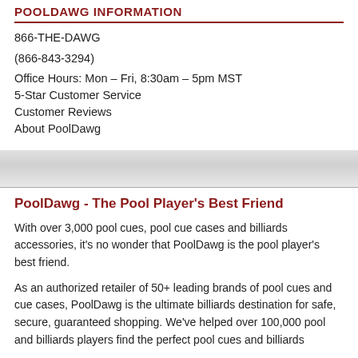POOLDAWG INFORMATION
866-THE-DAWG
(866-843-3294)
Office Hours: Mon – Fri, 8:30am – 5pm MST
5-Star Customer Service
Customer Reviews
About PoolDawg
PoolDawg - The Pool Player's Best Friend
With over 3,000 pool cues, pool cue cases and billiards accessories, it's no wonder that PoolDawg is the pool player's best friend.
As an authorized retailer of 50+ leading brands of pool cues and cue cases, PoolDawg is the ultimate billiards destination for safe, secure, guaranteed shopping. We've helped over 100,000 pool and billiards players find the perfect pool cues and billiards